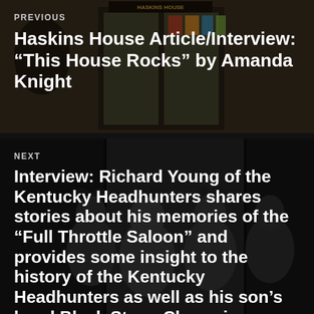[Figure (photo): Background photo of a storefront (Haskins House) with glass doors and colorful display items, overlaid with semi-transparent dark layer]
PREVIOUS
Haskins House Article/Interview: “This House Rocks” by Amanda Knight
[Figure (photo): Black and white photo of a rock band (Kentucky Headhunters style group), multiple members with long hair, dark background]
NEXT
Interview: Richard Young of the Kentucky Headhunters shares stories about his memories of the “Full Throttle Saloon” and provides some insight to the history of the Kentucky Headhunters as well as his son’s band Black Stone Cherry in a conversation with our very own